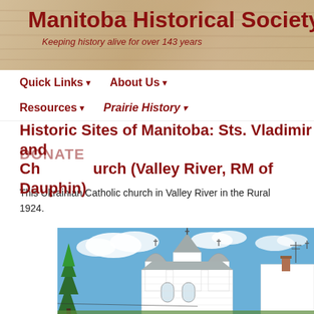Manitoba Historical Society — Keeping history alive for over 143 years
Quick Links ▾   About Us ▾
Resources ▾   Prairie History ▾
Historic Sites of Manitoba: Sts. Vladimir and Olga Ukrainian Catholic Church (Valley River, RM of Dauphin)
This Ukrainian Catholic church in Valley River in the Rural Municipality of Dauphin was built in 1924.
[Figure (photo): Exterior photo of Sts. Vladimir and Olga Ukrainian Catholic Church in Valley River, Manitoba — a white wooden church with multiple steeple-topped towers against a blue sky with clouds, and a large evergreen tree to the left.]